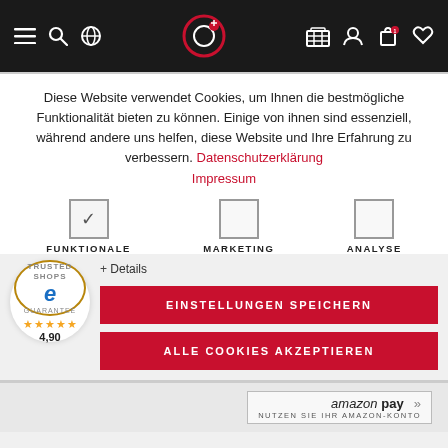[Figure (screenshot): Navigation bar with dark background showing hamburger menu, search icon, globe icon on left; logo (circular icon with red dot) in center; user, account, cart, and heart icons on right]
Diese Website verwendet Cookies, um Ihnen die bestmögliche Funktionalität bieten zu können. Einige von ihnen sind essenziell, während andere uns helfen, diese Website und Ihre Erfahrung zu verbessern. Datenschutzerklärung Impressum
FUNKTIONALE   MARKETING   ANALYSE
+ Details
EINSTELLUNGEN SPEICHERN
ALLE COOKIES AKZEPTIEREN
[Figure (logo): Trusted Shops guarantee badge — circular badge with 'e' letter, stars rating 4,90]
amazon pay » NUTZEN SIE IHR AMAZON-KONTO